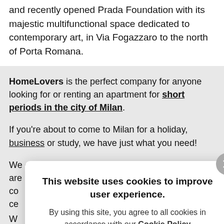and recently opened Prada Foundation with its majestic multifunctional space dedicated to contemporary art, in Via Fogazzaro to the north of Porta Romana.
HomeLovers is the perfect company for anyone looking for or renting an apartment for short periods in the city of Milan.
If you're about to come to Milan for a holiday, business or study, we have just what you need!
We can offer you a wide range of apartments that are co... ce...
W... p...
Ou... ap...
This website uses cookies to improve user experience. By using this site, you agree to all cookies in accordance with our Cookie Policy